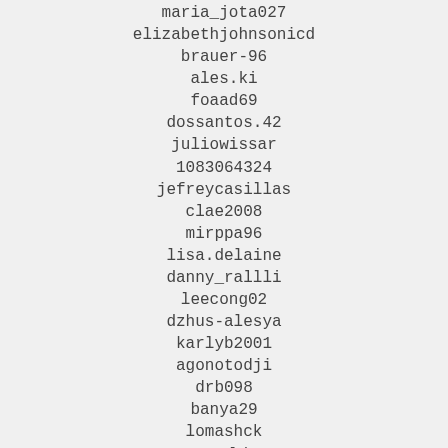maria_jota027
elizabethjohnsonicd
brauer-96
ales.ki
foaad69
dossantos.42
juliowissar
1083064324
jefreycasillas
clae2008
mirppa96
lisa.delaine
danny_rallli
leecong02
dzhus-alesya
karlyb2001
agonotodji
drb098
banya29
lomashck
areynolds10
as060326
chav-laura
dominays
fruzzy001